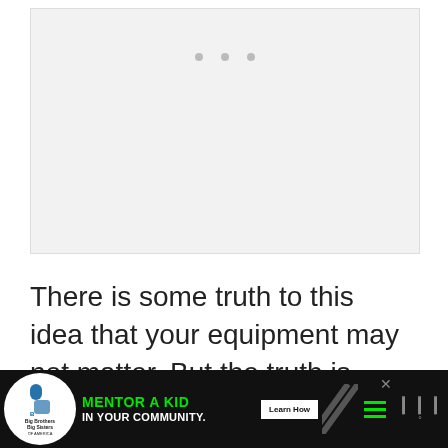[Figure (photo): Light gray placeholder image area with three small gray dots centered near the top, indicating a loading or missing image.]
There is some truth to this idea that your equipment may not matter. But the truth is what equipment you use for every phase of
[Figure (other): Advertisement banner: Big Brothers Big Sisters of America logo on left, green text 'MENTOR A KID IN YOUR COMMUNITY.' with 'Learn How' button, diagonal stripe pattern, hamburger menu icon, and brand dots on right. Dark background.]